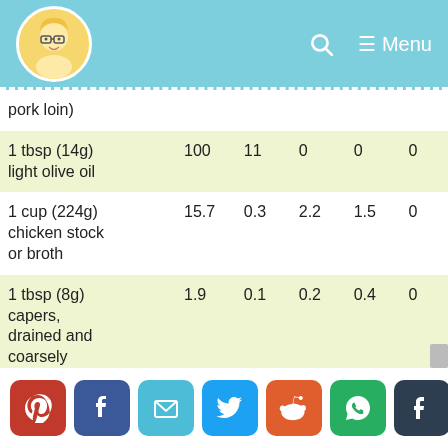Menu
| Ingredient | Cal | Fat | Carb | Prot |  |
| --- | --- | --- | --- | --- | --- |
| pork loin) |  |  |  |  |  |
| 1 tbsp (14g) light olive oil | 100 | 11 | 0 | 0 | 0 |
| 1 cup (224g) chicken stock or broth | 15.7 | 0.3 | 2.2 | 1.5 | 0 |
| 1 tbsp (8g) capers, drained and coarsely chopped | 1.9 | 0.1 | 0.2 | 0.4 | 0 |
| 1/4 cup (28.4g) bacon | 100 | 6 | 12 | 0 | 0 |